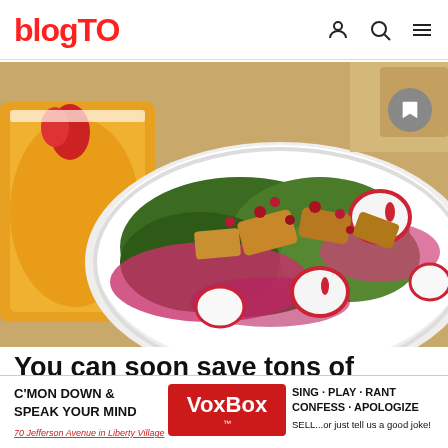blogTO
[Figure (photo): A white bowl filled with a colorful salad including kale, radishes, pomegranate seeds, and croutons on a wooden table, with an orange beverage in the background]
You can soon save tons of money at vegetarian restaurants around Toronto
[Figure (infographic): VoxBox advertisement banner: C'MON DOWN & SPEAK YOUR MIND - VoxBox - SING · PLAY · RANT CONFESS · APOLOGIZE SELL...or just tell us a good joke! 70 Jefferson Avenue in Liberty Village]